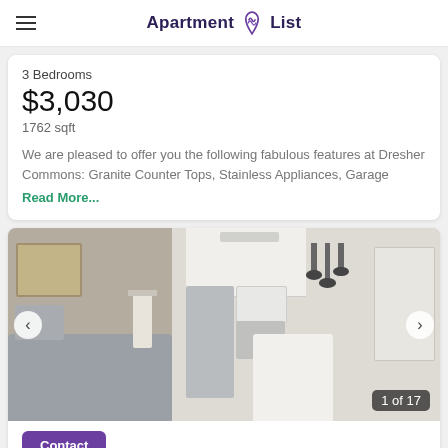Apartment List
3 Bedrooms
$3,030
1762 sqft
We are pleased to offer you the following fabulous features at Dresher Commons: Granite Counter Tops, Stainless Appliances, Garage
Read More...
[Figure (photo): Apartment interior showing living room with grey sofa and lamp on left, modern kitchen with stainless appliances and white cabinets in center, dining area with hanging pendant lights on right. Image counter shows 1 of 17.]